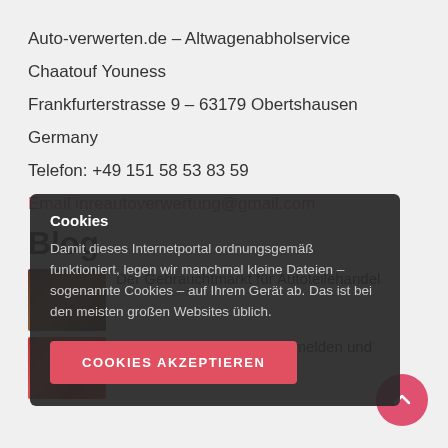Auto-verwerten.de – Altwagenabholservice
Chaatouf Youness
Frankfurterstrasse 9 – 63179 Obertshausen
Germany
Telefon: +49 151 58 53 83 59
Email: inreautoverwertung@gmail.com
Blog
Der Gebrauchtmarkt für Autoteilehandel
Das alte Auto kostenlos abmelden und verschrotten
Cookies
Damit dieses Internetportal ordnungsgemäß funktioniert, legen wir manchmal kleine Dateien – sogenannte Cookies – auf Ihrem Gerät ab. Das ist bei den meisten großen Websites üblich.
COOKIES AKZEPTIEREN